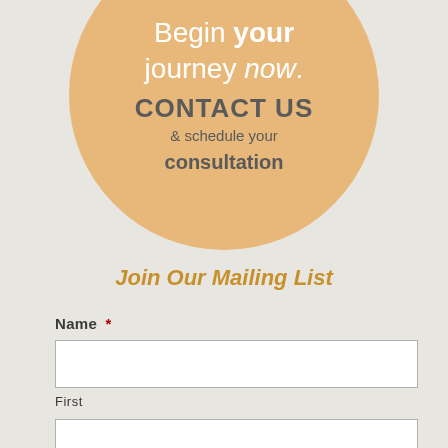[Figure (infographic): A circular badge with warm tan/golden background containing promotional text: 'Begin your journey now. CONTACT US & schedule your consultation']
Join Our Mailing List
Name *
First
Last
Email *